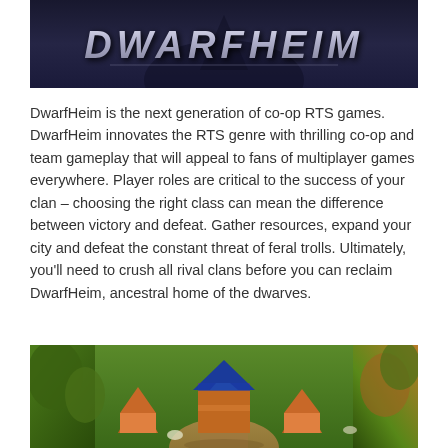[Figure (screenshot): DwarfHeim game logo on dark blue/purple background with stylized metallic text reading DWARFHEIM]
DwarfHeim is the next generation of co-op RTS games. DwarfHeim innovates the RTS genre with thrilling co-op and team gameplay that will appeal to fans of multiplayer games everywhere. Player roles are critical to the success of your clan – choosing the right class can mean the difference between victory and defeat. Gather resources, expand your city and defeat the constant threat of feral trolls. Ultimately, you'll need to crush all rival clans before you can reclaim DwarfHeim, ancestral home of the dwarves.
[Figure (screenshot): DwarfHeim in-game screenshot showing isometric view of a dwarf settlement with orange-roofed buildings, green landscape, dirt paths, and trees]